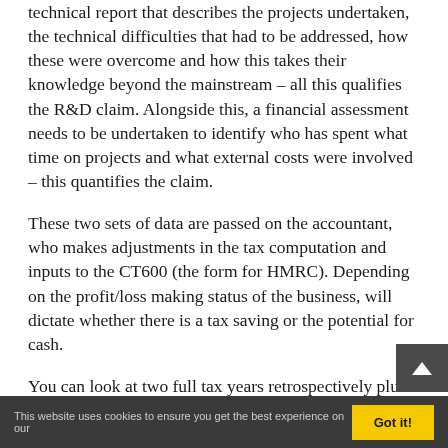technical report that describes the projects undertaken, the technical difficulties that had to be addressed, how these were overcome and how this takes their knowledge beyond the mainstream – all this qualifies the R&D claim. Alongside this, a financial assessment needs to be undertaken to identify who has spent what time on projects and what external costs were involved – this quantifies the claim.
These two sets of data are passed on the accountant, who makes adjustments in the tax computation and inputs to the CT600 (the form for HMRC). Depending on the profit/loss making status of the business, will dictate whether there is a tax saving or the potential for cash.
You can look at two full tax years retrospectively plus the one you are in. If a company's year end was 30th April 2020, we can make a claim for April 2018 and 2019. Once we get to the 1st May, the 2018 year claim dies.
This website uses cookies to ensure you get the best experience on our